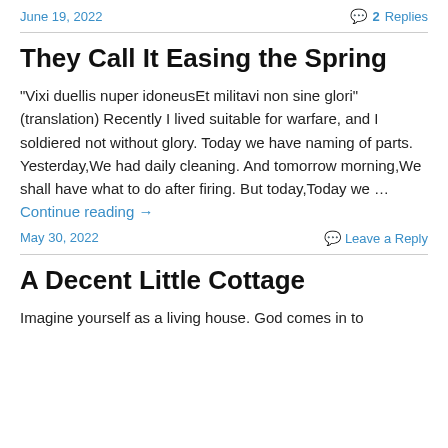June 19, 2022   2 Replies
They Call It Easing the Spring
"Vixi duellis nuper idoneusEt militavi non sine glori" (translation) Recently I lived suitable for warfare, and I soldiered not without glory. Today we have naming of parts. Yesterday,We had daily cleaning. And tomorrow morning,We shall have what to do after firing. But today,Today we … Continue reading →
May 30, 2022   Leave a Reply
A Decent Little Cottage
Imagine yourself as a living house. God comes in to